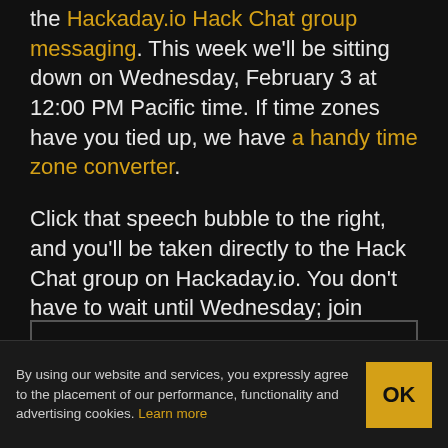the Hackaday.io Hack Chat group messaging. This week we'll be sitting down on Wednesday, February 3 at 12:00 PM Pacific time. If time zones have you tied up, we have a handy time zone converter.
Click that speech bubble to the right, and you'll be taken directly to the Hack Chat group on Hackaday.io. You don't have to wait until Wednesday; join whenever you want and you can see what the community is talking about.
CONTINUE READING →
By using our website and services, you expressly agree to the placement of our performance, functionality and advertising cookies. Learn more